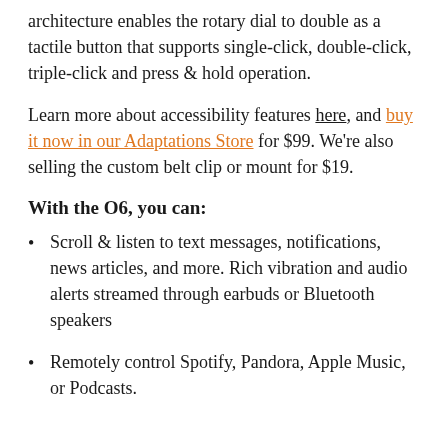architecture enables the rotary dial to double as a tactile button that supports single-click, double-click, triple-click and press & hold operation.
Learn more about accessibility features here, and buy it now in our Adaptations Store for $99. We're also selling the custom belt clip or mount for $19.
With the O6, you can:
Scroll & listen to text messages, notifications, news articles, and more. Rich vibration and audio alerts streamed through earbuds or Bluetooth speakers
Remotely control Spotify, Pandora, Apple Music, or Podcasts.